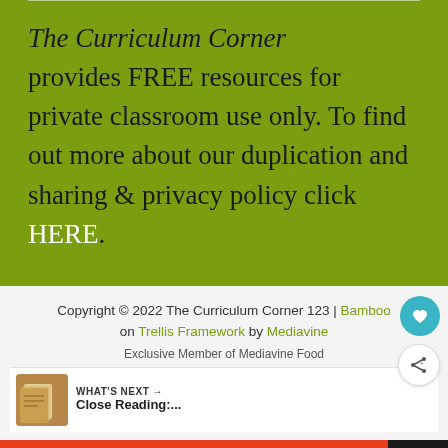The Curriculum Corner provides FREE resources for private classroom use only. To find out more about our duplication and sharing & privacy policy click HERE.
Copyright © 2022 The Curriculum Corner 123 | Bamboo on Trellis Framework by Mediavine
Exclusive Member of Mediavine Food
WHAT'S NEXT → Close Reading:...
You can help hungry kids. NO KID HUNGRY LEARN HOW